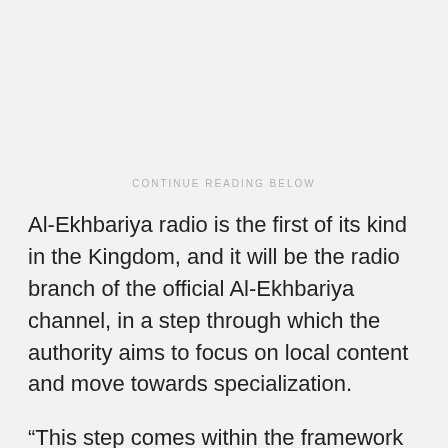CONTINUE READING BELOW
Al-Ekhbariya radio is the first of its kind in the Kingdom, and it will be the radio branch of the official Al-Ekhbariya channel, in a step through which the authority aims to focus on local content and move towards specialization.
“This step comes within the framework of the authority’s strategy towards distributing media